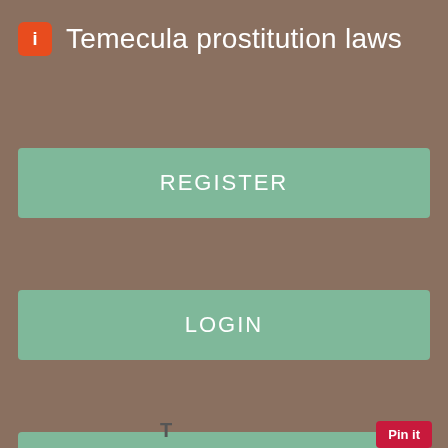Temecula prostitution laws
REGISTER
LOGIN
CONTACT US
| City: | Reno, NV |
| Hair: | Bald |
| Relation Type: | I Wanna Fuck Im So Horny |
| Views: 4165 |  |